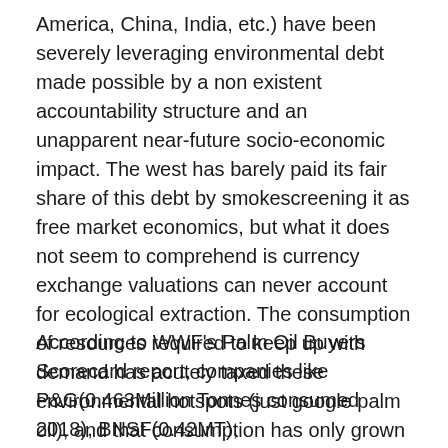America, China, India, etc.) have been severely leveraging environmental debt made possible by a non existent accountability structure and an unapparent near-future socio-economic impact. The west has barely paid its fair share of this debt by smokescreening it as free market economics, but what it does not seem to comprehend is currency exchange valuations can never account for ecological extraction. The consumption of resources required to keep up with demand has acutely taxed these environmental hotspots (just google palm oil), and that consumption has only grown – exponentially at that.
According to WWF's Palm Oil Buyers Scorecard report, companies like P&G(0.463Million Tonnes consumed 2018), BNSF(0.42MT), PepsiCo(0.506MT), Ferrero(0.204MT), Nestle(0.425MT), Unilever(1.03MT), AAK